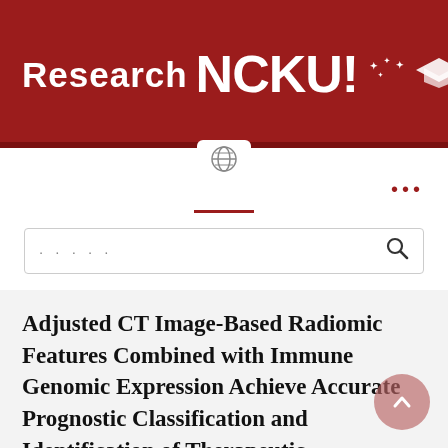[Figure (logo): Research NCKU! university website header banner with logo, graduation cap and book icons on dark red background]
[Figure (infographic): Globe icon in a white tab below the header banner]
...
.....
Adjusted CT Image-Based Radiomic Features Combined with Immune Genomic Expression Achieve Accurate Prognostic Classification and Identification of Therapeutic